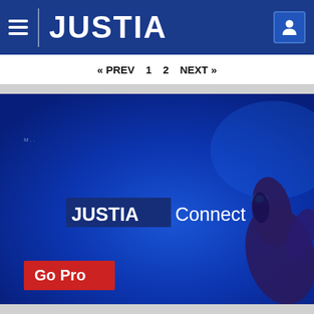JUSTIA
« PREV  1  2  NEXT »
[Figure (screenshot): Justia Connect promotional banner with a dark blue background, featuring 'JUSTIA Connect' text logo, a hand pointing/touching a glowing element in the top-right corner, and a red 'Go Pro' button in the lower left.]